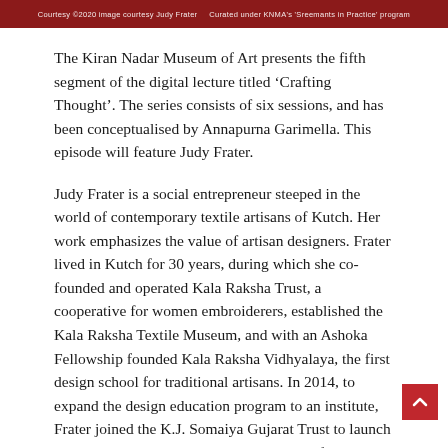Courtesy of KNMA's 'Sreemants in Practice' program
The Kiran Nadar Museum of Art presents the fifth segment of the digital lecture titled ‘Crafting Thought’. The series consists of six sessions, and has been conceptualised by Annapurna Garimella. This episode will feature Judy Frater.
Judy Frater is a social entrepreneur steeped in the world of contemporary textile artisans of Kutch. Her work emphasizes the value of artisan designers. Frater lived in Kutch for 30 years, during which she co-founded and operated Kala Raksha Trust, a cooperative for women embroiderers, established the Kala Raksha Textile Museum, and with an Ashoka Fellowship founded Kala Raksha Vidhyalaya, the first design school for traditional artisans. In 2014, to expand the design education program to an institute, Frater joined the K.J. Somaiya Gujarat Trust to launch Somaiya Kala Vidya. Frater is the author of Threads of Identity: Embroidery and Adornment of the Nomadic Rabaris and The Art of the Dyer in Kutch. Prior to residing in India, she was Associate Curator of the East…